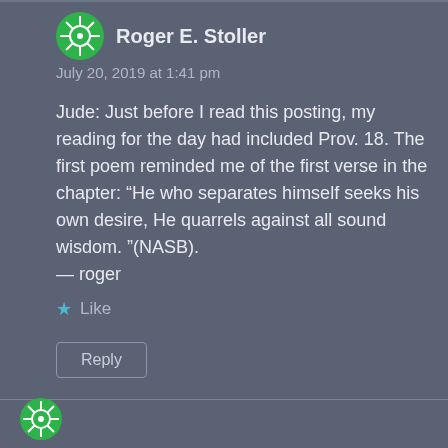Roger E. Stoller
July 20, 2019 at 1:41 pm
Jude: Just before I read this posting, my reading for the day had included Prov. 18. The first poem reminded me of the first verse in the chapter: “He who separates himself seeks his own desire, He quarrels against all sound wisdom. ”(NASB).
— roger
Like
Reply